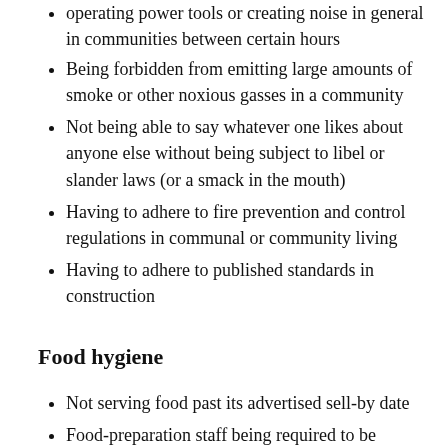operating power tools or creating noise in general in communities between certain hours
Being forbidden from emitting large amounts of smoke or other noxious gasses in a community
Not being able to say whatever one likes about anyone else without being subject to libel or slander laws (or a smack in the mouth)
Having to adhere to fire prevention and control regulations in communal or community living
Having to adhere to published standards in construction
Food hygiene
Not serving food past its advertised sell-by date
Food-preparation staff being required to be qualified in the practice